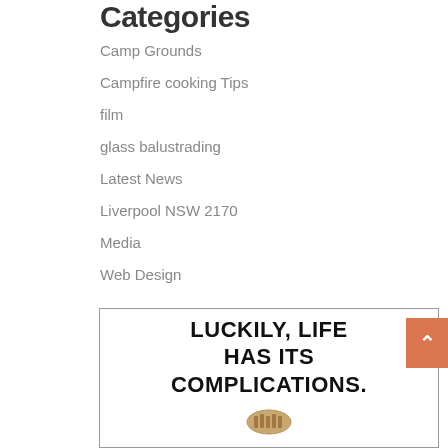Categories
Camp Grounds
Campfire cooking Tips
film
glass balustrading
Latest News
Liverpool NSW 2170
Media
Web Design
[Figure (illustration): Advertisement box with bold text reading LUCKILY, LIFE HAS ITS COMPLICATIONS. with a small decorative icon below the text.]